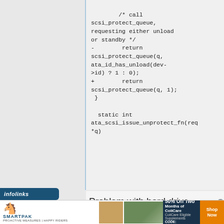[Figure (screenshot): Code diff showing modification to scsi_protect_queue call. Minus line removes conditional ata_id_has_unload check, plus line simplifies to always pass 1. Followed by start of static int ata_scsi_issue_unprotect_fn function definition.]
Problem with hard drive
[Figure (screenshot): Advertisement banner from SmartPak featuring 50% Off Two Months of ColiCare offer, with horse image and Shop Now button. Infolinks badge visible.]